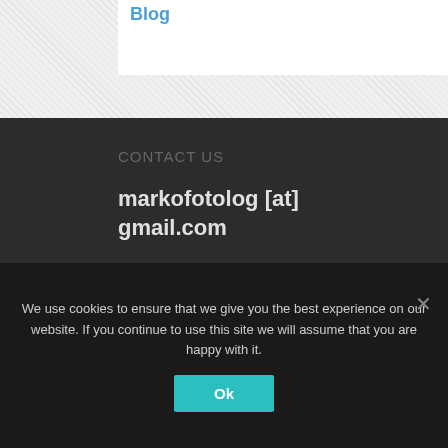Blog
CONTACT US
markofotolog [at] gmail.com
POPULAR POSTS
Hidden Features of YouTube: 6 Tips & ...
We use cookies to ensure that we give you the best experience on our website. If you continue to use this site we will assume that you are happy with it.
Ok